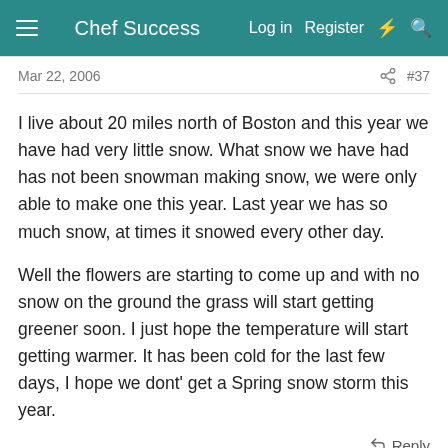Chef Success   Log in   Register
Mar 22, 2006   #37
I live about 20 miles north of Boston and this year we have had very little snow. What snow we have had has not been snowman making snow, we were only able to make one this year. Last year we has so much snow, at times it snowed every other day.
Well the flowers are starting to come up and with no snow on the ground the grass will start getting greener soon. I just hope the temperature will start getting warmer. It has been cold for the last few days, I hope we dont' get a Spring snow storm this year.
Reply